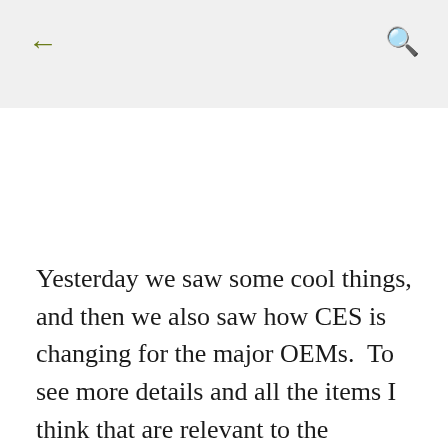← (back) 🔍 (search)
Yesterday we saw some cool things, and then we also saw how CES is changing for the major OEMs. To see more details and all the items I think that are relevant to the Android user, I'm tracking it all in a database I posted on the first day.